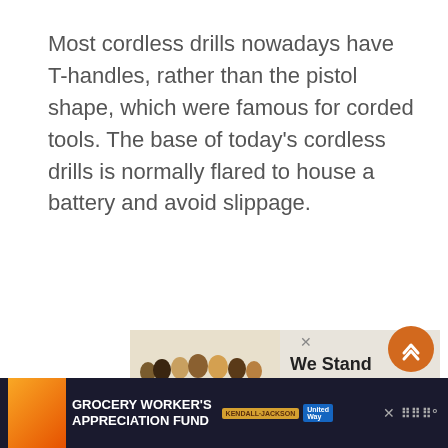Most cordless drills nowadays have T-handles, rather than the pistol shape, which were famous for corded tools. The base of today's cordless drills is normally flared to house a battery and avoid slippage.
[Figure (illustration): Advertisement banner showing a group of people with arms around each other viewed from behind, with text 'We Stand Together']
[Figure (illustration): Bottom bar advertisement for Grocery Worker's Appreciation Fund with Kendall-Jackson and United Way logos, and a close button. Weather widget icon on the right.]